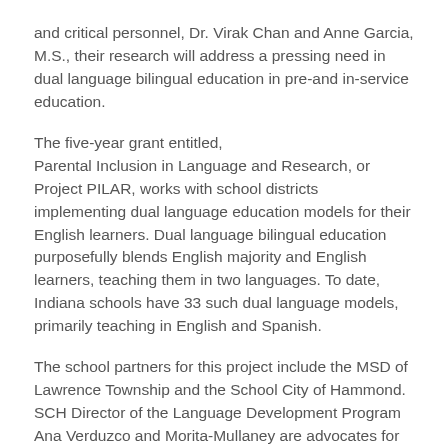and critical personnel, Dr. Virak Chan and Anne Garcia, M.S., their research will address a pressing need in dual language bilingual education in pre-and in-service education.
The five-year grant entitled, Parental Inclusion in Language and Research, or Project PILAR, works with school districts implementing dual language education models for their English learners. Dual language bilingual education purposefully blends English majority and English learners, teaching them in two languages. To date, Indiana schools have 33 such dual language models, primarily teaching in English and Spanish.
The school partners for this project include the MSD of Lawrence Township and the School City of Hammond. SCH Director of the Language Development Program Ana Verduzco and Morita-Mullaney are advocates for dual language education.
“Ana has the history of being a principal of a dual language